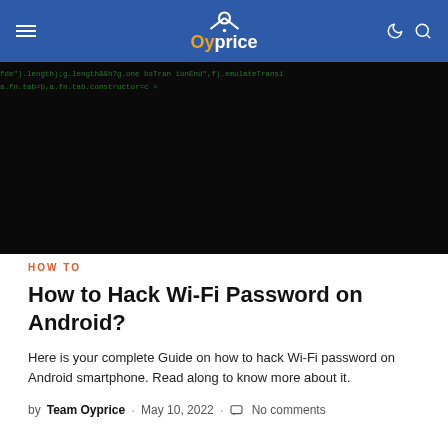Oyprice
[Figure (photo): Dark background with code text and a white padlock icon overlay, representing WiFi hacking/security concept]
HOW TO
How to Hack Wi-Fi Password on Android?
Here is your complete Guide on how to hack Wi-Fi password on Android smartphone. Read along to know more about it.
by Team Oyprice · May 10, 2022 · No comments